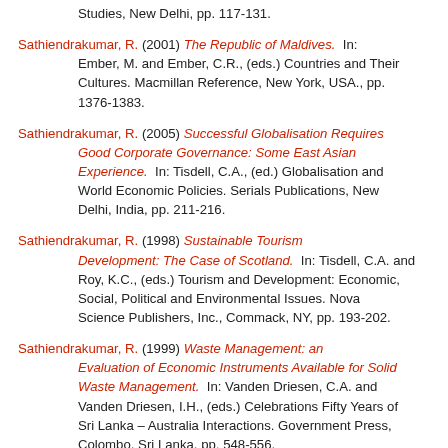Studies, New Delhi, pp. 117-131.
Sathiendrakumar, R. (2001) The Republic of Maldives. In: Ember, M. and Ember, C.R., (eds.) Countries and Their Cultures. Macmillan Reference, New York, USA., pp. 1376-1383.
Sathiendrakumar, R. (2005) Successful Globalisation Requires Good Corporate Governance: Some East Asian Experience. In: Tisdell, C.A., (ed.) Globalisation and World Economic Policies. Serials Publications, New Delhi, India, pp. 211-216.
Sathiendrakumar, R. (1998) Sustainable Tourism Development: The Case of Scotland. In: Tisdell, C.A. and Roy, K.C., (eds.) Tourism and Development: Economic, Social, Political and Environmental Issues. Nova Science Publishers, Inc., Commack, NY, pp. 193-202.
Sathiendrakumar, R. (1999) Waste Management: an Evaluation of Economic Instruments Available for Solid Waste Management. In: Vanden Driesen, C.A. and Vanden Driesen, I.H., (eds.) Celebrations Fifty Years of Sri Lanka – Australia Interactions. Government Press, Colombo, Sri Lanka, pp. 548-556.